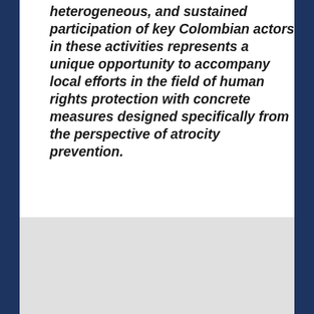heterogeneous, and sustained participation of key Colombian actors in these activities represents a unique opportunity to accompany local efforts in the field of human rights protection with concrete measures designed specifically from the perspective of atrocity prevention.